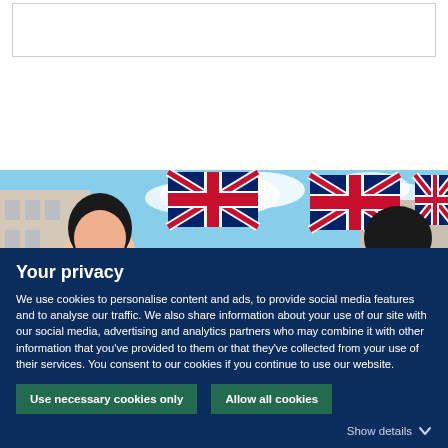[Figure (screenshot): Top white area with a thin-bordered empty input/search box in the upper portion of the page]
[Figure (photo): Photo of people with Union Jack (UK flag) bunting/flags in the background, street scene]
Your privacy
We use cookies to personalise content and ads, to provide social media features and to analyse our traffic. We also share information about your use of our site with our social media, advertising and analytics partners who may combine it with other information that you've provided to them or that they've collected from your use of their services. You consent to our cookies if you continue to use our website.
Use necessary cookies only
Allow all cookies
Show details